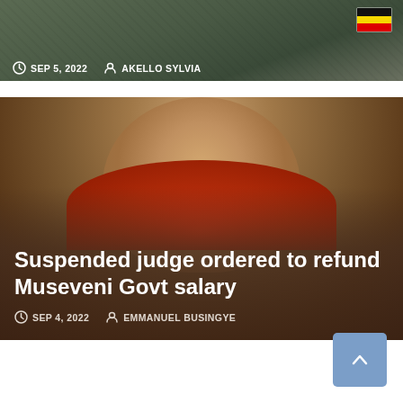[Figure (photo): Top article card showing a person in military/police uniform with Uganda flag patch. Date: SEP 5, 2022. Author: AKELLO SYLVIA.]
SEP 5, 2022   AKELLO SYLVIA
[Figure (photo): Article card showing a woman's face (suspended judge). Overlaid with article title and metadata.]
Suspended judge ordered to refund Museveni Govt salary
SEP 4, 2022   EMMANUEL BUSINGYE